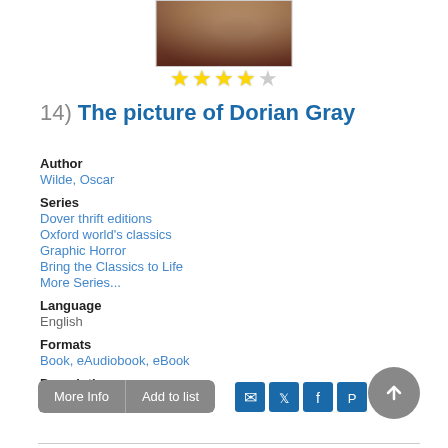[Figure (photo): Book cover image showing a portrait of a person, partially visible at top of page]
[Figure (other): 4 out of 5 star rating shown with yellow and grey stars]
14) The picture of Dorian Gray
Author
Wilde, Oscar
Series
Dover thrift editions
Oxford world's classics
Graphic Horror
Bring the Classics to Life
More Series...
Language
English
Formats
Book, eAudiobook, eBook
Description
Read Description